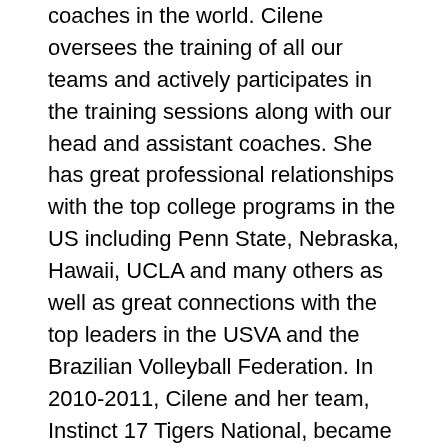coaches in the world. Cilene oversees the training of all our teams and actively participates in the training sessions along with our head and assistant coaches. She has great professional relationships with the top college programs in the US including Penn State, Nebraska, Hawaii, UCLA and many others as well as great connections with the top leaders in the USVA and the Brazilian Volleyball Federation. In 2010-2011, Cilene and her team, Instinct 17 Tigers National, became the National Champions in the Girls Junior National Championships held in Atlanta. This was Instinct's first National Championship in only its 3rd year of existence and first year fielding a team at this age group. In 2011-2012, Cilene led the 17 Tigers National to a second place finish in the National Championships held in Columbus, OH. Cilene has coached several teams to Nationals and AAUs, and has mentored several athletes to pursue collegiate and professional careers. Cilene is a well